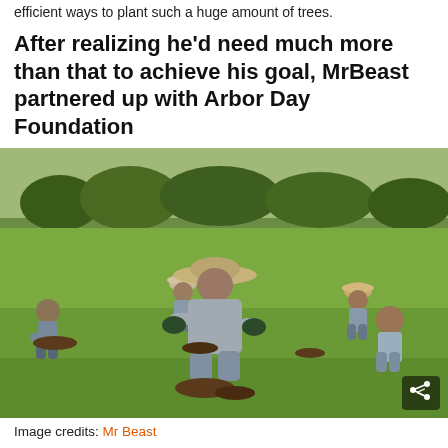efficient ways to plant such a huge amount of trees.
After realizing he’d need much more than that to achieve his goal, MrBeast partnered up with Arbor Day Foundation
[Figure (photo): People planting trees in a grassy open field. Several individuals are kneeling on the grass, digging and planting small trees. A share button icon is visible in the bottom-right corner of the image.]
Image credits: Mr Beast
Mark Rober, being the brilliant inventor and engineer that he